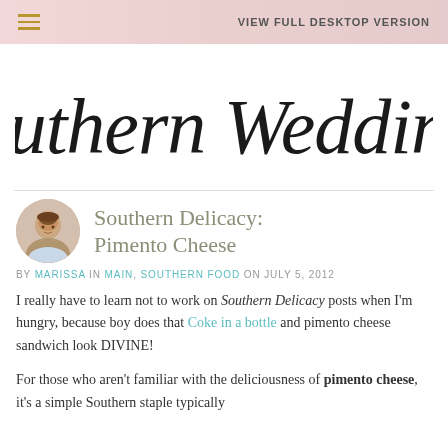≡  VIEW FULL DESKTOP VERSION
[Figure (logo): Southern Weddings cursive script logo in black on white background]
[Figure (photo): Circular avatar photo of a smiling woman with brown hair]
Southern Delicacy: Pimento Cheese
BY MARISSA IN MAIN, SOUTHERN FOOD ON JULY 5, 2012
I really have to learn not to work on Southern Delicacy posts when I'm hungry, because boy does that Coke in a bottle and pimento cheese sandwich look DIVINE!
For those who aren't familiar with the deliciousness of pimento cheese, it's a simple Southern staple typically